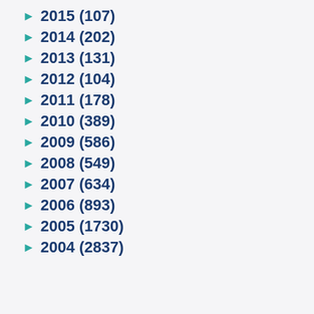► 2015 (107)
► 2014 (202)
► 2013 (131)
► 2012 (104)
► 2011 (178)
► 2010 (389)
► 2009 (586)
► 2008 (549)
► 2007 (634)
► 2006 (893)
► 2005 (1730)
► 2004 (2837)